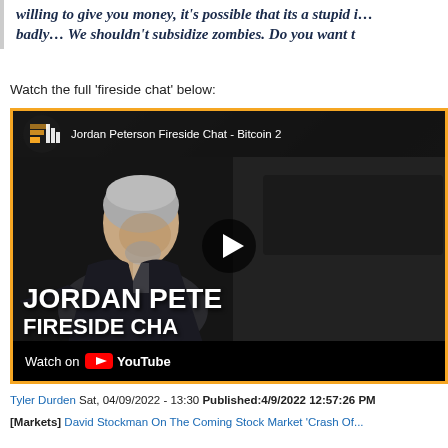willing to give you money, it's possible that its a stupid idea... badly… We shouldn't subsidize zombies. Do you want t
Watch the full 'fireside chat' below:
[Figure (screenshot): YouTube video embed thumbnail showing Jordan Peterson Fireside Chat - Bitcoin 2, with a man in a suit sitting and the text 'JORDAN PETE... FIRESIDE CHA...' overlaid, with a play button in the center and Watch on YouTube bar at bottom.]
Tyler Durden Sat, 04/09/2022 - 13:30 Published:4/9/2022 12:57:26 PM
[Markets] David Stockman On The Coming Stock Market 'Crash Of...